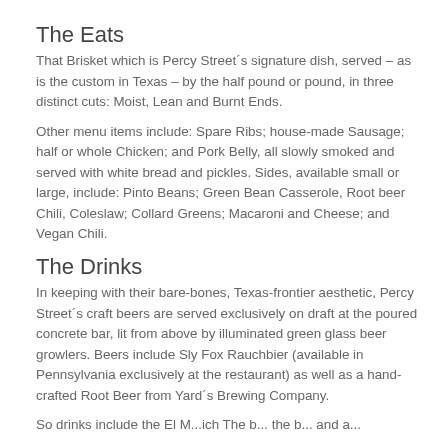The Eats
That Brisket which is Percy Street´s signature dish, served – as is the custom in Texas – by the half pound or pound, in three distinct cuts: Moist, Lean and Burnt Ends.
Other menu items include: Spare Ribs; house-made Sausage; half or whole Chicken; and Pork Belly, all slowly smoked and served with white bread and pickles. Sides, available small or large, include: Pinto Beans; Green Bean Casserole, Root beer Chili, Coleslaw; Collard Greens; Macaroni and Cheese; and Vegan Chili.
The Drinks
In keeping with their bare-bones, Texas-frontier aesthetic, Percy Street´s craft beers are served exclusively on draft at the poured concrete bar, lit from above by illuminated green glass beer growlers. Beers include Sly Fox Rauchbier (available in Pennsylvania exclusively at the restaurant) as well as a hand-crafted Root Beer from Yard´s Brewing Company.
So drinks include The M...ich Th... bonus...